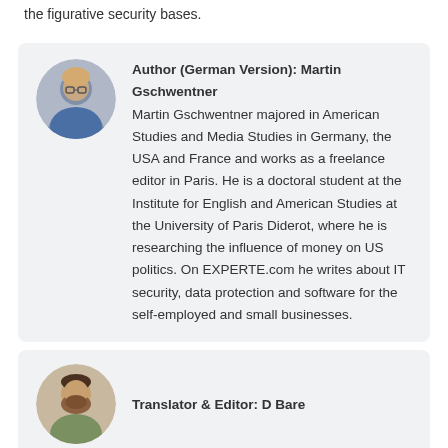the figurative security bases.
Author (German Version): Martin Gschwentner
Martin Gschwentner majored in American Studies and Media Studies in Germany, the USA and France and works as a freelance editor in Paris. He is a doctoral student at the Institute for English and American Studies at the University of Paris Diderot, where he is researching the influence of money on US politics. On EXPERTE.com he writes about IT security, data protection and software for the self-employed and small businesses.
Translator & Editor: D Bare